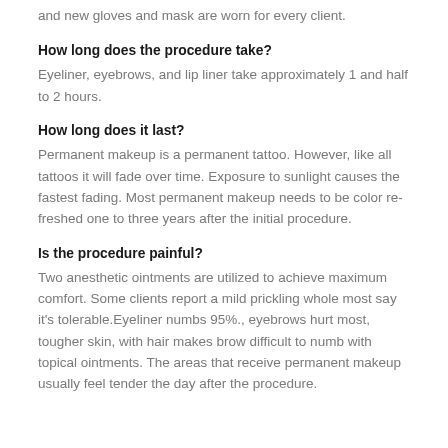and new gloves and mask are worn for every client.
How long does the procedure take?
Eyeliner, eyebrows, and lip liner take approximately 1 and half to 2 hours.
How long does it last?
Permanent makeup is a permanent tattoo. However, like all tattoos it will fade over time. Exposure to sunlight causes the fastest fading. Most permanent makeup needs to be color refreshed one to three years after the initial procedure.
Is the procedure painful?
Two anesthetic ointments are utilized to achieve maximum comfort. Some clients report a mild prickling whole most say it's tolerable.Eyeliner numbs 95%., eyebrows hurt most, tougher skin, with hair makes brow difficult to numb with topical ointments. The areas that receive permanent makeup usually feel tender the day after the procedure.